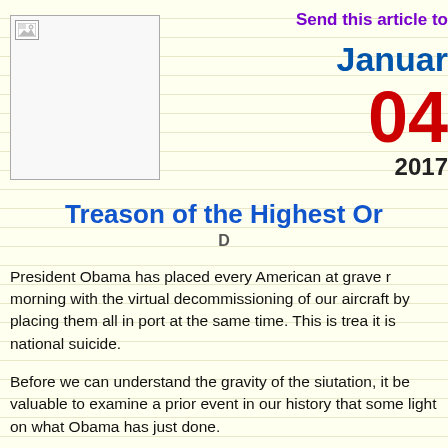[Figure (photo): Small placeholder image icon in top left]
Send this article to
January
04
2017
Treason of the Highest Or...
D...
President Obama has placed every American at grave r... morning with the virtual decommissioning of our aircraft... by placing them all in port at the same time. This is trea... it is national suicide.
Before we can understand the gravity of the siutation, it... be valuable to examine a prior event in our history that... some light on what Obama has just done.